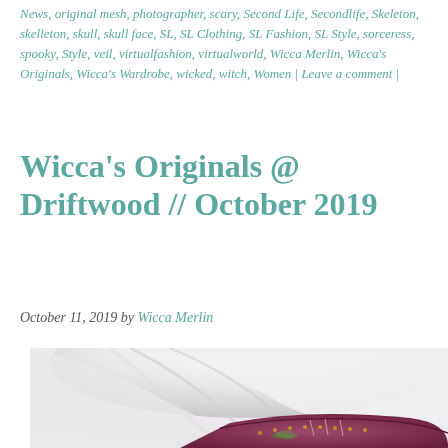News, original mesh, photographer, scary, Second Life, Secondlife, Skeleton, skelleton, skull, skull face, SL, SL Clothing, SL Fashion, SL Style, sorceress, spooky, Style, veil, virtualfashion, virtualworld, Wicca Merlin, Wicca's Originals, Wicca's Wardrobe, wicked, witch, Women | Leave a comment |
Wicca's Originals @ Driftwood // October 2019
October 11, 2019 by Wicca Merlin
[Figure (photo): Close-up photo of a character with white hair wearing a dark magenta/purple corset or bodice with decorative stitching and pins, against a soft pinkish-white bokeh background.]